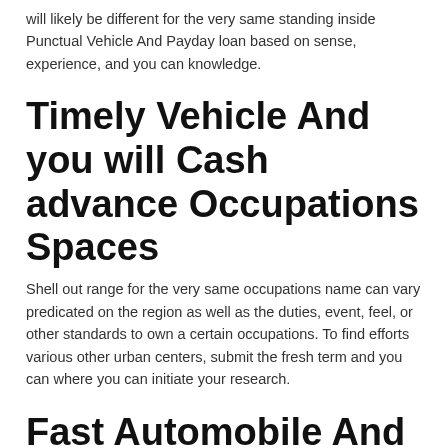will likely be different for the very same standing inside Punctual Vehicle And Payday loan based on sense, experience, and you can knowledge.
Timely Vehicle And you will Cash advance Occupations Spaces
Shell out range for the very same occupations name can vary predicated on the region as well as the duties, event, feel, or other standards to own a certain occupations. To find efforts various other urban centers, submit the fresh term and you can where you can initiate your research.
Fast Automobile And